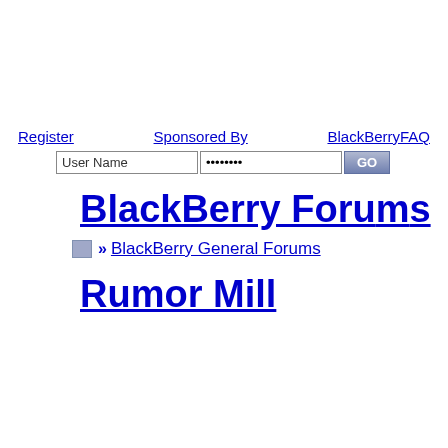Register   Sponsored By   BlackBerryFAQ
[Figure (screenshot): Login form with User Name text field, password field with dots, and GO button]
BlackBerry Forums
» BlackBerry General Forums
Rumor Mill